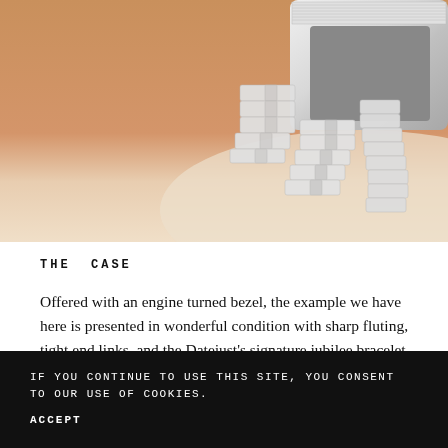[Figure (photo): Close-up photo of a wrist wearing a stainless steel Rolex Datejust watch with a jubilee bracelet. The wrist is shown against a light surface. The watch case, engine-turned bezel, and jubilee bracelet links are visible.]
THE CASE
Offered with an engine turned bezel, the example we have here is presented in wonderful condition with sharp fluting, tight end links, and the Datejust's signature jubilee bracelet.
IF YOU CONTINUE TO USE THIS SITE, YOU CONSENT TO OUR USE OF COOKIES.
ACCEPT